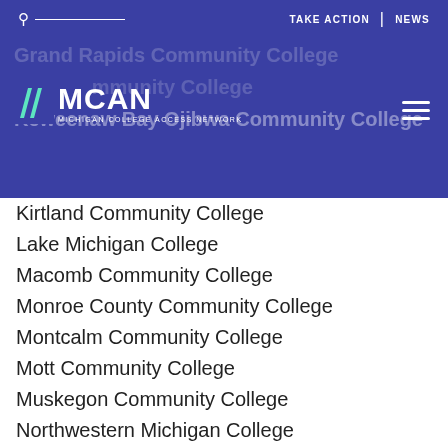TAKE ACTION | NEWS
[Figure (logo): MCAN Michigan College Access Network logo with teal double-slash mark on blue background]
Grand Rapids Community College
Kirtland Community College
Lake Michigan College
Macomb Community College
Monroe County Community College
Montcalm Community College
Mott Community College
Muskegon Community College
Northwestern Michigan College
Oakland Community College
Saginaw Chippewa Tribal College
Southwestern Michigan College
St. Clair Community College
Washtenaw Community College
West Shore Community College